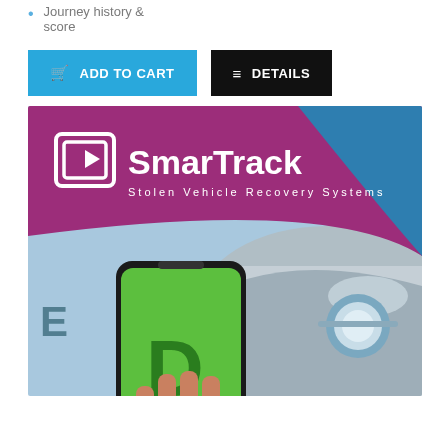Journey history & score
[Figure (illustration): Two buttons: a blue 'ADD TO CART' button with shopping cart icon, and a black 'DETAILS' button with list icon]
[Figure (photo): SmarTrack Stolen Vehicle Recovery Systems advertisement banner showing a hand holding a smartphone with a green app screen displaying the letter D, in front of a silver Land Rover vehicle. Purple and blue banner with SmarTrack logo at top.]